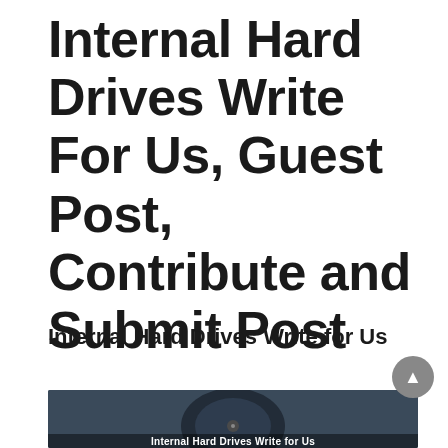Internal Hard Drives Write For Us, Guest Post, Contribute and Submit Post
Internal Hard Drives Write for Us
[Figure (photo): A dark grey/blue close-up photo of a hard drive with text overlay reading 'Internal Hard Drives Write for Us']